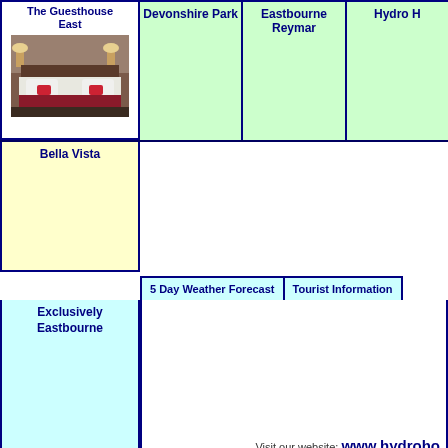The Guesthouse East
[Figure (photo): Hotel bedroom with two bedside lamps and pillows with red cushions on a dark red bedspread]
Devonshire Park
Eastbourne Reymar
Hydro H
Bella Vista
5 Day Weather Forecast
Tourist Information
Exclusively Eastbourne
Visit our website: www.hydroho
These listings do not constitute any form of recommendation b